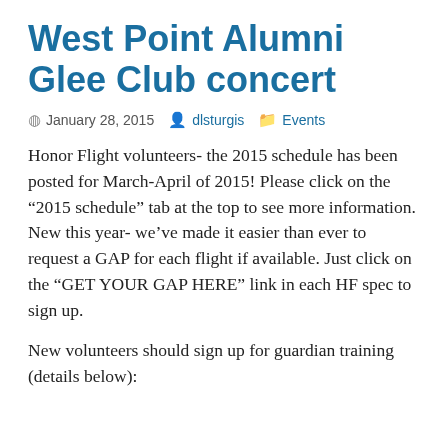West Point Alumni Glee Club concert
January 28, 2015   dlsturgis   Events
Honor Flight volunteers- the 2015 schedule has been posted for March-April of 2015! Please click on the “2015 schedule” tab at the top to see more information. New this year- we’ve made it easier than ever to request a GAP for each flight if available. Just click on the “GET YOUR GAP HERE” link in each HF spec to sign up.
New volunteers should sign up for guardian training (details below):